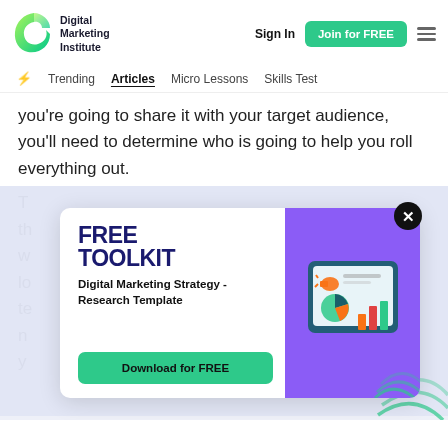Digital Marketing Institute — Sign In | Join for FREE
Trending | Articles | Micro Lessons | Skills Test
you're going to share it with your target audience, you'll need to determine who is going to help you roll everything out.
[Figure (screenshot): Free Toolkit popup modal with 'FREE TOOLKIT' heading, 'Digital Marketing Strategy - Research Template' subtitle, 'Download for FREE' green button, and purple illustration panel with a chart/presentation icon.]
T... th... w... lo... te... n... y...